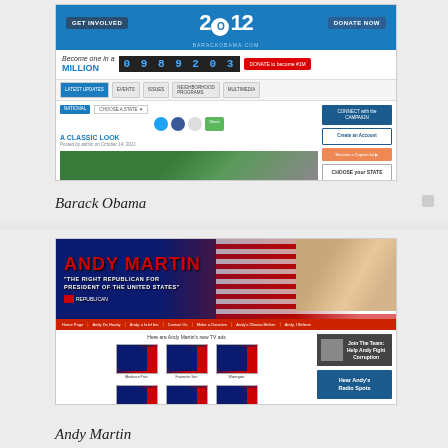[Figure (screenshot): Screenshot of BarackObama.com 2012 campaign website showing the homepage with '2012' logo, 'Become one in a MILLION' counter showing 0989203, navigation bar, and a blog post titled 'A CLASSIC LOOK' with a photo of a man outdoors.]
Barack Obama
[Figure (screenshot): Screenshot of Andy Martin campaign website showing his name in large red letters with the slogan 'THE RIGHT REPUBLICAN FOR PRESIDENT OF THE UNITED STATES', American flag background, navigation bar, TV ads section, and sidebar buttons 'Join The Team Help Andy Fight Corruption' and 'Hear Andy's Radio Spots'.]
Andy Martin